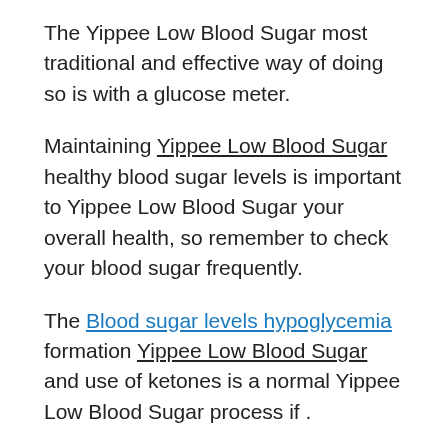The Yippee Low Blood Sugar most traditional and effective way of doing so is with a glucose meter.
Maintaining Yippee Low Blood Sugar healthy blood sugar levels is important to Yippee Low Blood Sugar your overall health, so remember to check your blood sugar frequently.
The Blood sugar levels hypoglycemia formation Yippee Low Blood Sugar and use of ketones is a normal Yippee Low Blood Sugar process if .
Day Sugar Detox
it has Blood sugar level after breakfast been a long time since your Yippee Low Blood Sugar last meal